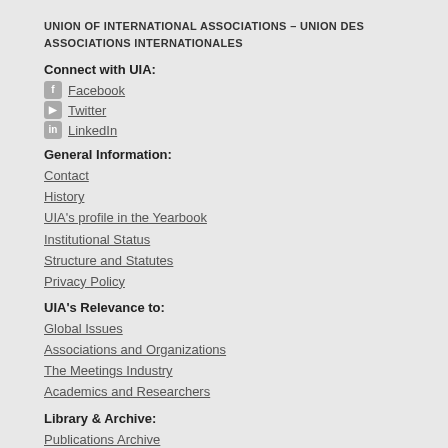UNION OF INTERNATIONAL ASSOCIATIONS - UNION DES ASSOCIATIONS INTERNATIONALES
Connect with UIA:
Facebook
Twitter
LinkedIn
General Information:
Contact
History
UIA's profile in the Yearbook
Institutional Status
Structure and Statutes
Privacy Policy
UIA's Relevance to:
Global Issues
Associations and Organizations
The Meetings Industry
Academics and Researchers
Library & Archive:
Publications Archive
Document Archive
Support:   Make a Donation